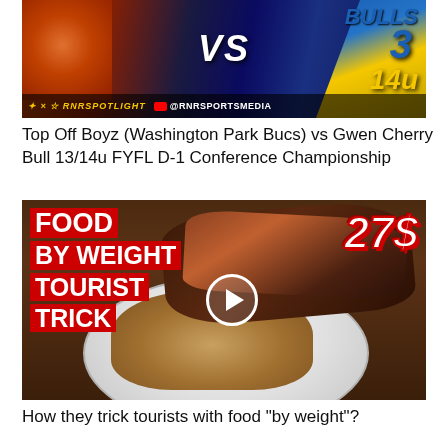[Figure (photo): Sports thumbnail showing two football teams facing off: Washington Park Bucs (orange/skull logo) vs Gwen Cherry Bulls (blue/yellow), with VS text in center, BULLS text and number 3 visible, 14u age group label, RNRSpotlight branding and @RNRSPORTSMEDIA YouTube channel]
Top Off Boyz (Washington Park Bucs) vs Gwen Cherry Bull 13/14u FYFL D-1 Conference Championship
[Figure (photo): Food thumbnail showing barbecue brisket/meat and bread on a white plate on a wooden table. Large red bold text overlay reads 'FOOD BY WEIGHT TOURIST TRICK' and '27$' in red italic. A white circle play button is overlaid in the center.]
How they trick tourists with food "by weight"?